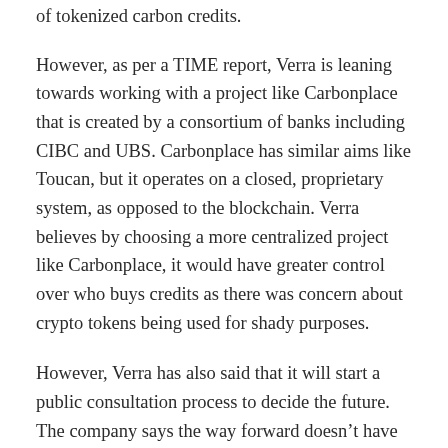of tokenized carbon credits.
However, as per a TIME report, Verra is leaning towards working with a project like Carbonplace that is created by a consortium of banks including CIBC and UBS. Carbonplace has similar aims like Toucan, but it operates on a closed, proprietary system, as opposed to the blockchain. Verra believes by choosing a more centralized project like Carbonplace, it would have greater control over who buys credits as there was concern about crypto tokens being used for shady purposes.
However, Verra has also said that it will start a public consultation process to decide the future. The company says the way forward doesn't have to be the banks, it could be any entity with sophisticated KYC checks and the infrastructure to perform these checks. Officials of Toucan and other crypto entities hope that they would be